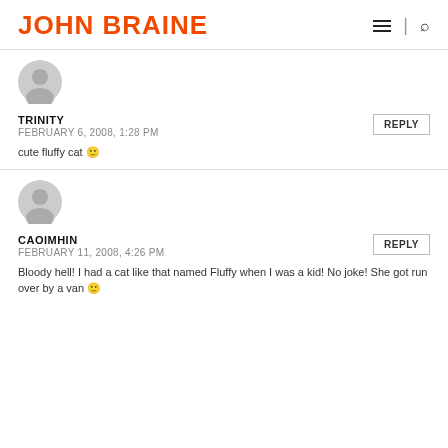JOHN BRAINE
[Figure (illustration): Gray avatar icon for user Trinity]
TRINITY
FEBRUARY 6, 2008, 1:28 PM
cute fluffy cat 🙂
[Figure (illustration): Gray avatar icon for user Caoimhin]
CAOIMHIN
FEBRUARY 11, 2008, 4:26 PM
Bloody hell! I had a cat like that named Fluffy when I was a kid! No joke! She got run over by a van 🙂